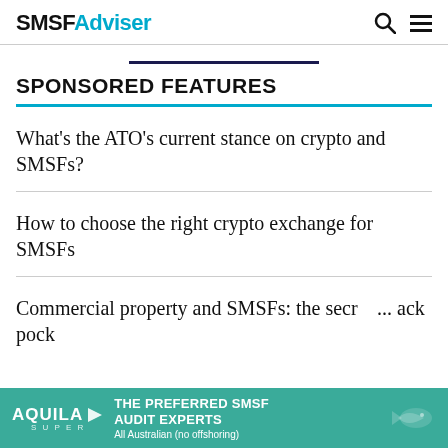SMSFAdviser
SPONSORED FEATURES
What's the ATO's current stance on crypto and SMSFs?
How to choose the right crypto exchange for SMSFs
Commercial property and SMSFs: the secret... ack pock...
[Figure (advertisement): Aquila Super advertisement banner: THE PREFERRED SMSF AUDIT EXPERTS. All Australian (no offshoring)]